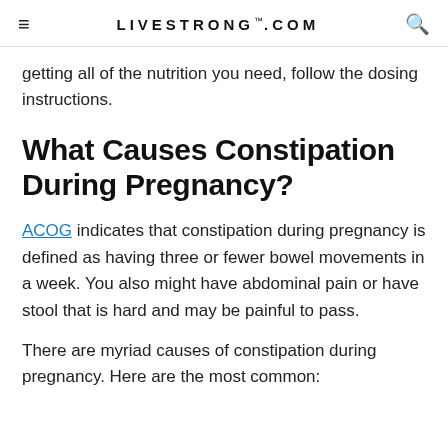LIVESTRONG.COM
getting all of the nutrition you need, follow the dosing instructions.
What Causes Constipation During Pregnancy?
ACOG indicates that constipation during pregnancy is defined as having three or fewer bowel movements in a week. You also might have abdominal pain or have stool that is hard and may be painful to pass.
There are myriad causes of constipation during pregnancy. Here are the most common: